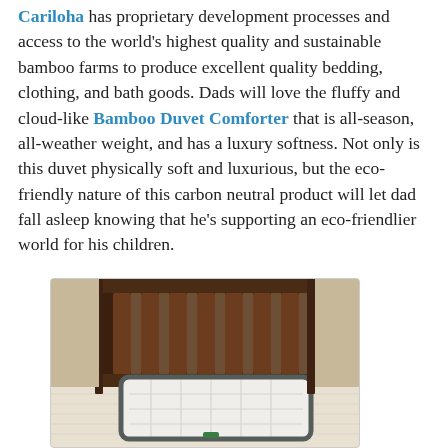Cariloha has proprietary development processes and access to the world's highest quality and sustainable bamboo farms to produce excellent quality bedding, clothing, and bath goods. Dads will love the fluffy and cloud-like Bamboo Duvet Comforter that is all-season, all-weather weight, and has a luxury softness. Not only is this duvet physically soft and luxurious, but the eco-friendly nature of this carbon neutral product will let dad fall asleep knowing that he's supporting an eco-friendlier world for his children.
[Figure (photo): A white quilted pillow with dark gray trim sitting on a bed with white bedding, in front of a dark wooden headboard with vertical slats.]